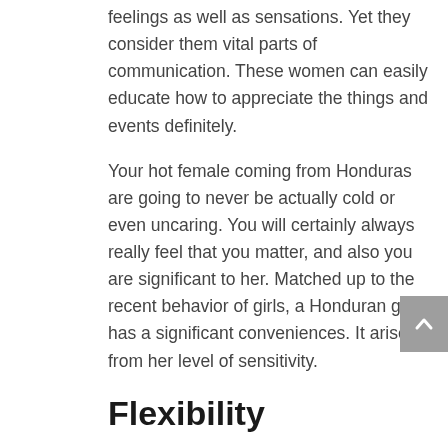feelings as well as sensations. Yet they consider them vital parts of communication. These women can easily educate how to appreciate the things and events definitely.
Your hot female coming from Honduras are going to never be actually cold or even uncaring. You will certainly always really feel that you matter, and also you are significant to her. Matched up to the recent behavior of girls, a Honduran gal has a significant conveniences. It arises from her level of sensitivity.
Flexibility
For very hot girls from Honduras, consistency in partnership and also life matters. Thus, they make an effort to create equilibrium in their communication withthe world. Additionally, they like to find the greatest ways of dealing withcomplications. In marriage, it means that your warm Honduran bride will